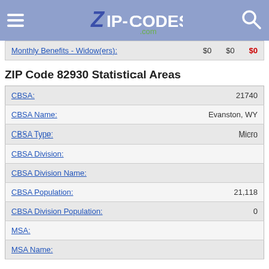ZIP-CODES.com
| Field | Value1 | Value2 | Value3 |
| --- | --- | --- | --- |
| Monthly Benefits - Widow(ers): | $0 | $0 | $0 |
ZIP Code 82930 Statistical Areas
| Field | Value |
| --- | --- |
| CBSA: | 21740 |
| CBSA Name: | Evanston, WY |
| CBSA Type: | Micro |
| CBSA Division: |  |
| CBSA Division Name: |  |
| CBSA Population: | 21,118 |
| CBSA Division Population: | 0 |
| MSA: |  |
| MSA Name: |  |